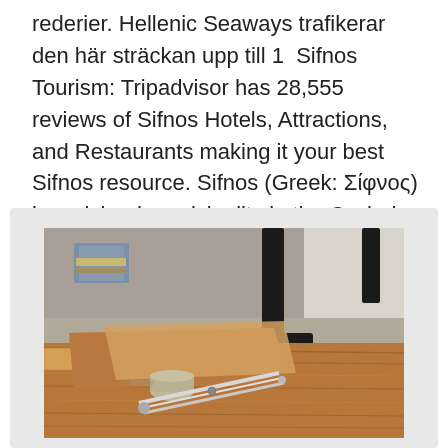rederier. Hellenic Seaways trafikerar den här sträckan upp till 1  Sifnos Tourism: Tripadvisor has 28,555 reviews of Sifnos Hotels, Attractions, and Restaurants making it your best Sifnos resource. Sifnos (Greek: Σίφνος) is an island municipality in the Cyclades island group in Greece.
[Figure (photo): A photograph of a wooden workbench/desk surface with leather items, tools (a compass or caliper), and a black metal pipe/lamp stand with a circular base flange. Background shows blurred books and white fabric.]